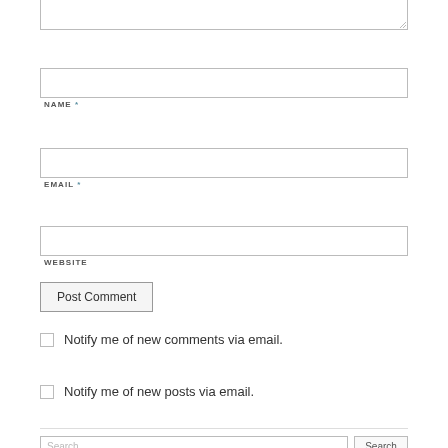[Figure (screenshot): Comment form with textarea (partial, top of page), NAME field with asterisk, EMAIL field with asterisk, WEBSITE field, Post Comment button, two checkboxes for email notifications, a horizontal divider, and a search bar at bottom.]
NAME *
EMAIL *
WEBSITE
Post Comment
Notify me of new comments via email.
Notify me of new posts via email.
Search